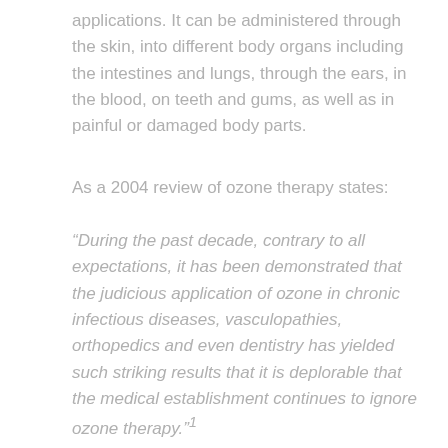applications. It can be administered through the skin, into different body organs including the intestines and lungs, through the ears, in the blood, on teeth and gums, as well as in painful or damaged body parts.
As a 2004 review of ozone therapy states:
“During the past decade, contrary to all expectations, it has been demonstrated that the judicious application of ozone in chronic infectious diseases, vasculopathies, orthopedics and even dentistry has yielded such striking results that it is deplorable that the medical establishment continues to ignore ozone therapy.”¹